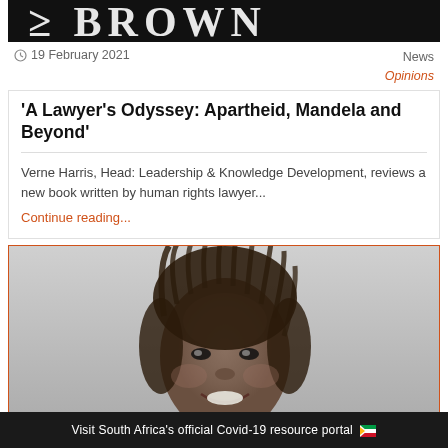[Figure (photo): Partial view of a book cover with large text 'BROWN' on dark background]
19 February 2021
News
Opinions
'A Lawyer's Odyssey: Apartheid, Mandela and Beyond'
Verne Harris, Head: Leadership & Knowledge Development, reviews a new book written by human rights lawyer...
Continue reading...
[Figure (photo): Black and white portrait photo of a smiling woman with dreadlocks]
Visit South Africa's official Covid-19 resource portal